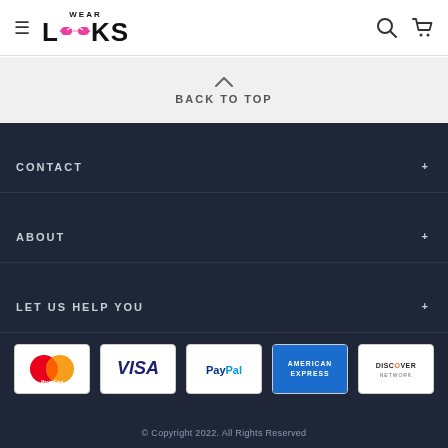WEAR LOOKS — navigation header with hamburger menu, search and cart icons
BACK TO TOP
CONTACT
ABOUT
LET US HELP YOU
[Figure (logo): Payment method logos: Mastercard, Visa, PayPal, American Express, Discover Network]
© Copyright 2022. All Rights Reserved